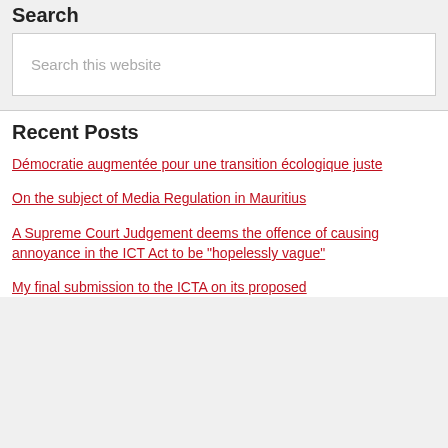Search
Search this website
Recent Posts
Démocratie augmentée pour une transition écologique juste
On the subject of Media Regulation in Mauritius
A Supreme Court Judgement deems the offence of causing annoyance in the ICT Act to be "hopelessly vague"
My final submission to the ICTA on its proposed